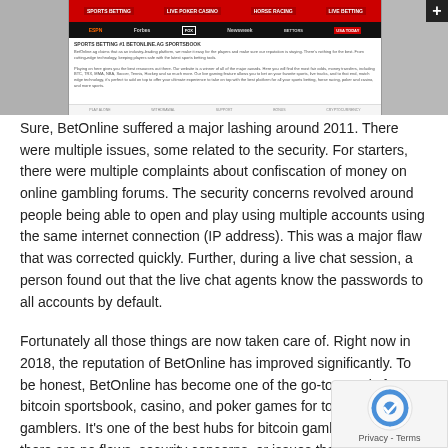[Figure (screenshot): Screenshot of BetOnline website showing ESPN, Forbes, Fox, Newsweek logos in navigation bar and sports betting content]
Sure, BetOnline suffered a major lashing around 2011. There were multiple issues, some related to the security. For starters, there were multiple complaints about confiscation of money on online gambling forums. The security concerns revolved around people being able to open and play using multiple accounts using the same internet connection (IP address). This was a major flaw that was corrected quickly. Further, during a live chat session, a person found out that the live chat agents know the passwords to all accounts by default.
Fortunately all those things are now taken care of. Right now in 2018, the reputation of BetOnline has improved significantly. To be honest, BetOnline has become one of the go-to portals for bitcoin sportsbook, casino, and poker games for top online gamblers. It's one of the best hubs for bitcoin gambling today and there are no flaws, security concerns, or issues that the players face.